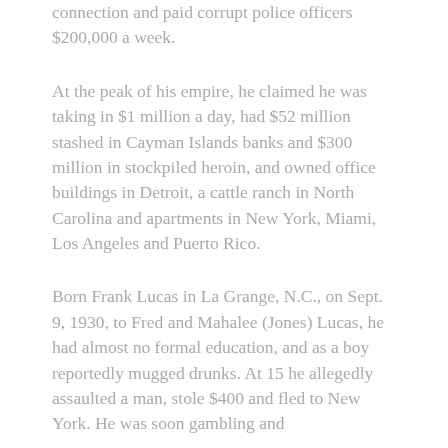connection and paid corrupt police officers $200,000 a week.
At the peak of his empire, he claimed he was taking in $1 million a day, had $52 million stashed in Cayman Islands banks and $300 million in stockpiled heroin, and owned office buildings in Detroit, a cattle ranch in North Carolina and apartments in New York, Miami, Los Angeles and Puerto Rico.
Born Frank Lucas in La Grange, N.C., on Sept. 9, 1930, to Fred and Mahalee (Jones) Lucas, he had almost no formal education, and as a boy reportedly mugged drunks. At 15 he allegedly assaulted a man, stole $400 and fled to New York. He was soon gambling and